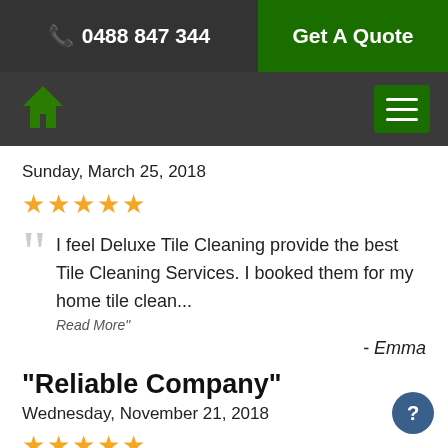📞 0488 847 344 | Get A Quote
Sunday, March 25, 2018
★★★★★
“I feel Deluxe Tile Cleaning provide the best Tile Cleaning Services. I booked them for my home tile clean... Read More”
- Emma
“Reliable Company”
Wednesday, November 21, 2018
★★★★★